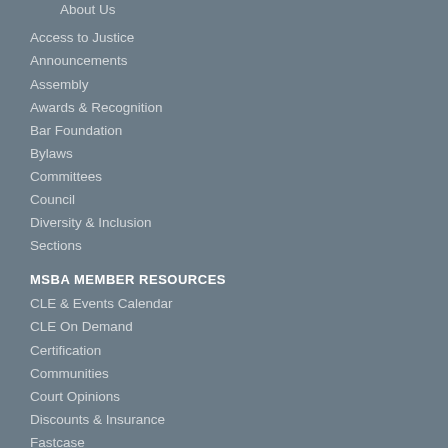About Us
Access to Justice
Announcements
Assembly
Awards & Recognition
Bar Foundation
Bylaws
Committees
Council
Diversity & Inclusion
Sections
MSBA MEMBER RESOURCES
CLE & Events Calendar
CLE On Demand
Certification
Communities
Court Opinions
Discounts & Insurance
Fastcase
Judge's Courtroom Preferences
Member Directory
Member Services Guide